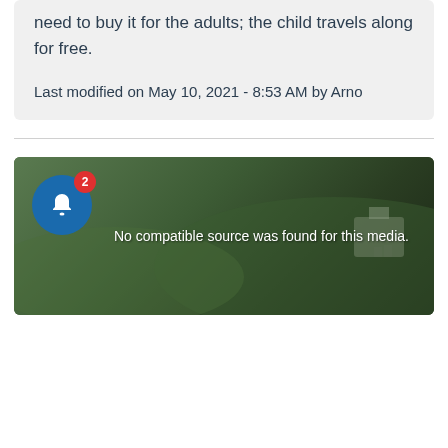need to buy it for the adults; the child travels along for free.
Last modified on May 10, 2021 - 8:53 AM by Arno
[Figure (screenshot): A video player showing a landscape with green hills and buildings, overlaid with a bell notification icon with badge number 2, and the text 'No compatible source was found for this media.']